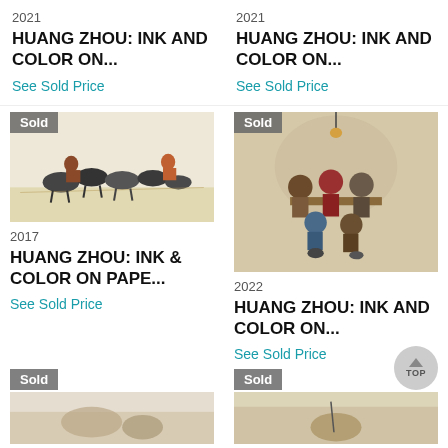2021
HUANG ZHOU: INK AND COLOR ON...
See Sold Price
2021
HUANG ZHOU: INK AND COLOR ON...
See Sold Price
[Figure (photo): Chinese ink painting of cattle herding scene with riders and animals in motion, ink and color on paper]
[Figure (photo): Chinese ink painting of a group of people seated around a table in a social gathering scene]
2017
HUANG ZHOU: INK & COLOR ON PAPE...
See Sold Price
2022
HUANG ZHOU: INK AND COLOR ON...
See Sold Price
[Figure (photo): Partial view of a Chinese artwork, bottom cropped]
[Figure (photo): Partial view of a Chinese ink artwork, bottom cropped]